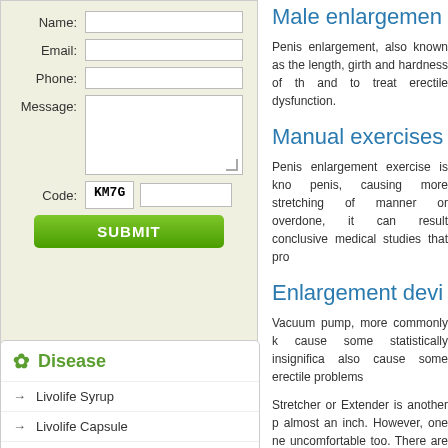Name:
Email:
Phone:
Message:
Code: KM7G
Disease
Livolife Syrup
Livolife Capsule
Cold Plus Syrup
Cold Plus Lozenges
Go Cold Syrup
Khoon Musaffi Capsule
Khoon Musaffi Syrup
Male enlargement
Penis enlargement, also known as... the length, girth and hardness of th... and to treat erectile dysfunction.
Manual exercises
Penis enlargement exercise is kno... penis, causing more stretching of ... manner or overdone, it can result... conclusive medical studies that pro...
Enlargement devi
Vacuum pump, more commonly k... cause some statistically insignifica... also cause some erectile problems...
Stretcher or Extender is another p... almost an inch. However, one ne... uncomfortable too. There are no ne...